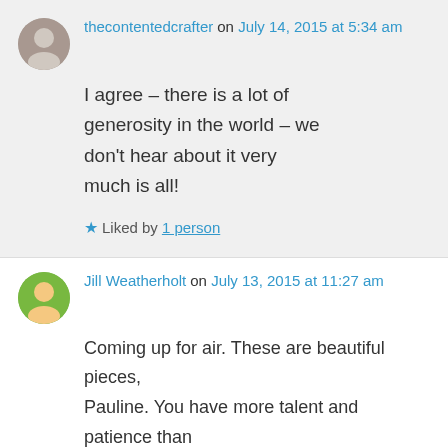thecontentedcrafter on July 14, 2015 at 5:34 am
I agree – there is a lot of generosity in the world – we don't hear about it very much is all!
★ Liked by 1 person
Jill Weatherholt on July 13, 2015 at 11:27 am
Coming up for air. These are beautiful pieces, Pauline. You have more talent and patience than anyone I know. Thank you again for the Siddy fix on FB. It was perfect timing. xo